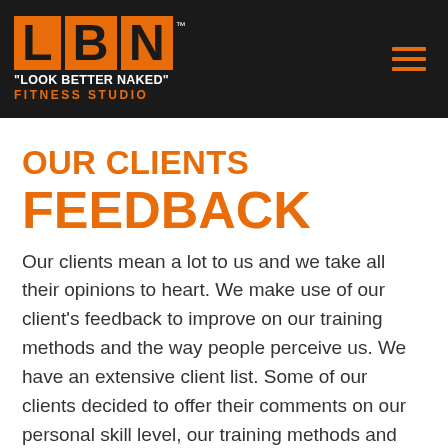[Figure (logo): LBN 'Look Better Naked' Fitness Studio logo with orange block letters on black header bar, with hamburger menu icon]
OUR CLIENTS FEEDBACK
Our clients mean a lot to us and we take all their opinions to heart. We make use of our client's feedback to improve on our training methods and the way people perceive us. We have an extensive client list. Some of our clients decided to offer their comments on our personal skill level, our training methods and the results they achieved while training